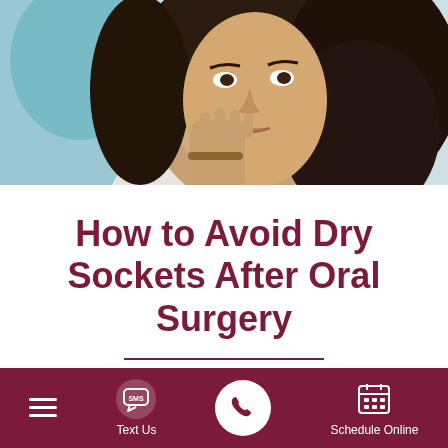[Figure (photo): Woman with curly dark hair resting her chin/cheek on her hand, appearing to be in dental discomfort, photographed in a dental office setting with teal/blue background]
How to Avoid Dry Sockets After Oral Surgery
Posted on July 15, 2019 on behalf of Red Oak Family Dentistry